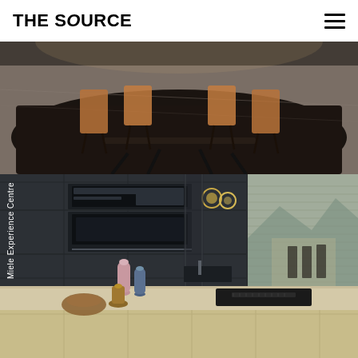The SOURCE
[Figure (photo): Luxury dining room interior with dark flooring, black chairs around a table, and a dark area rug, viewed from slightly above. Warm ambient lighting.]
[Figure (photo): Miele Experience Centre kitchen showroom with dark matte cabinetry, built-in appliances (oven, coffee machine), an island with induction cooktop and integrated ventilation, decorative vases, and a dining area visible through large windows with mountain views.]